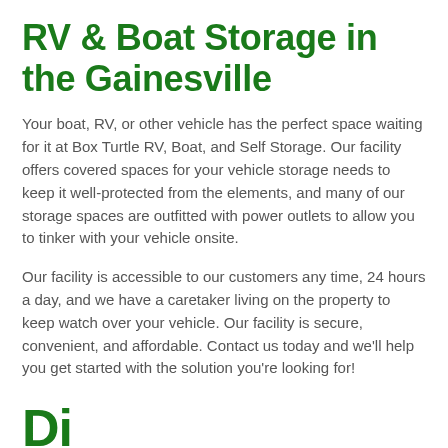RV & Boat Storage in the Gainesville
Your boat, RV, or other vehicle has the perfect space waiting for it at Box Turtle RV, Boat, and Self Storage. Our facility offers covered spaces for your vehicle storage needs to keep it well-protected from the elements, and many of our storage spaces are outfitted with power outlets to allow you to tinker with your vehicle onsite.
Our facility is accessible to our customers any time, 24 hours a day, and we have a caretaker living on the property to keep watch over your vehicle. Our facility is secure, convenient, and affordable. Contact us today and we'll help you get started with the solution you're looking for!
Di...